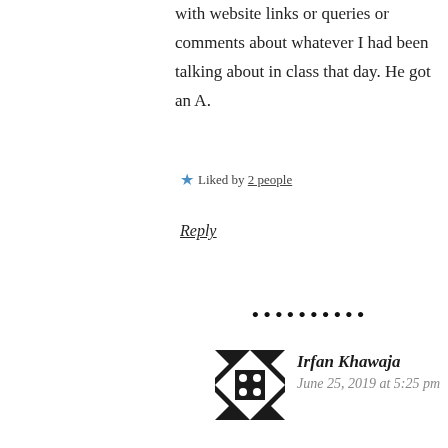with website links or queries or comments about whatever I had been talking about in class that day. He got an A.
★ Liked by 2 people
Reply
••••••••••
Irfan Khawaja
June 25, 2019 at 5:25 pm